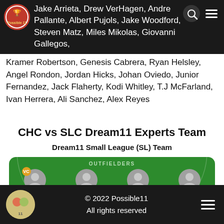Jake Arrieta, Drew VerHagen, Andre Pallante, Albert Pujols, Jake Woodford, Steven Matz, Miles Mikolas, Giovanni Gallegos, Kramer Robertson, Genesis Cabrera, Ryan Helsley, Angel Rondon, Jordan Hicks, Johan Oviedo, Junior Fernandez, Jack Flaherty, Kodi Whitley, T.J McFarland, Ivan Herrera, Ali Sanchez, Alex Reyes
CHC vs SLC Dream11 Experts Team
Dream11 Small League (SL) Team
[Figure (infographic): Baseball field diagram showing outfielders: H Bader (VC, 13 Cr, blue tag), Ian Happ (12 Cr, red tag), L Nootba (7 Cr, blue tag), S Suzuki (8 Cr, red tag). Infielders row partially visible at bottom with C badge on rightmost player.]
© 2022 Possible11
All rights reserved